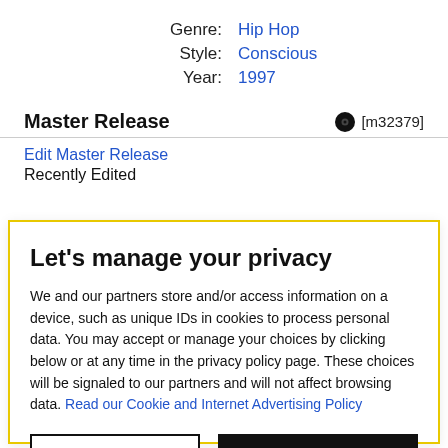| Genre: | Hip Hop |
| Style: | Conscious |
| Year: | 1997 |
Master Release
[m32379]
Edit Master Release
Recently Edited
Let's manage your privacy
We and our partners store and/or access information on a device, such as unique IDs in cookies to process personal data. You may accept or manage your choices by clicking below or at any time in the privacy policy page. These choices will be signaled to our partners and will not affect browsing data. Read our Cookie and Internet Advertising Policy
Cookies Settings
Accept All Cookies